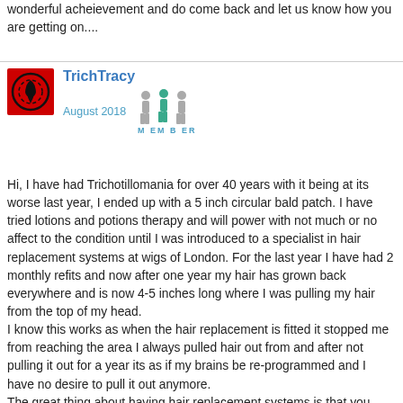wonderful acheievement and do come back and let us know how you are getting on....
TrichTracy
August 2018 MEMBER
Hi, I have had Trichotillomania for over 40 years with it being at its worse last year, I ended up with a 5 inch circular bald patch. I have tried lotions and potions therapy and will power with not much or no affect to the condition until I was introduced to a specialist in hair replacement systems at wigs of London. For the last year I have had 2 monthly refits and now after one year my hair has grown back everywhere and is now 4-5 inches long where I was pulling my hair from the top of my head.
I know this works as when the hair replacement is fitted it stopped me from reaching the area I always pulled hair out from and after not pulling it out for a year its as if my brains be re-programmed and I have no desire to pull it out anymore.
The great thing about having hair replacement systems is that you have hair instantly, which can be washed and styled and I can swim in it too, and all the time my hair is growing underneath. Some of the hair intergration specialists can be very costly and the quality of hair is not always good.
When the got everyone back...